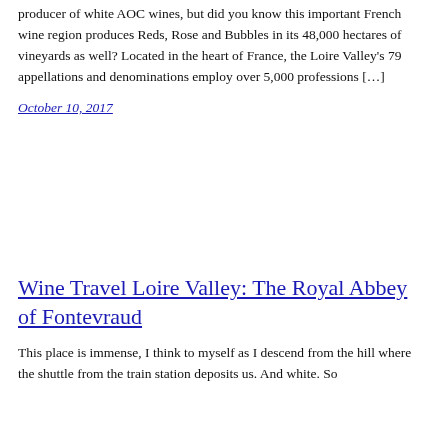producer of white AOC wines, but did you know this important French wine region produces Reds, Rose and Bubbles in its 48,000 hectares of vineyards as well? Located in the heart of France, the Loire Valley's 79 appellations and denominations employ over 5,000 professions […]
October 10, 2017
Wine Travel Loire Valley: The Royal Abbey of Fontevraud
This place is immense, I think to myself as I descend from the hill where the shuttle from the train station deposits us. And white. So